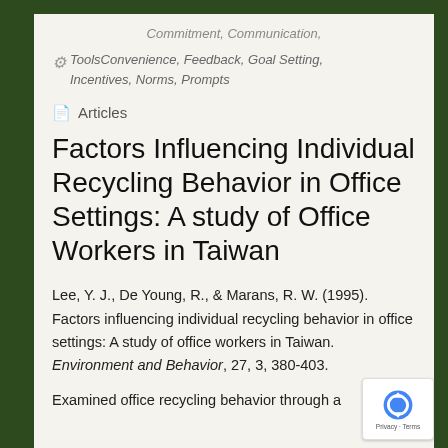Commitment, Communication,
Tools Convenience, Feedback, Goal Setting, Incentives, Norms, Prompts
Articles
Factors Influencing Individual Recycling Behavior in Office Settings: A study of Office Workers in Taiwan
Lee, Y. J., De Young, R., & Marans, R. W. (1995). Factors influencing individual recycling behavior in office settings: A study of office workers in Taiwan. Environment and Behavior, 27, 3, 380-403.
Examined office recycling behavior through a